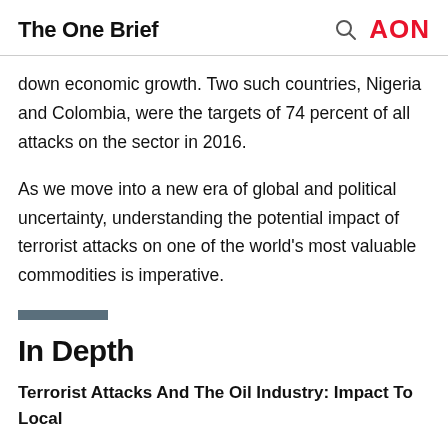The One Brief
down economic growth. Two such countries, Nigeria and Colombia, were the targets of 74 percent of all attacks on the sector in 2016.
As we move into a new era of global and political uncertainty, understanding the potential impact of terrorist attacks on one of the world’s most valuable commodities is imperative.
In Depth
Terrorist Attacks And The Oil Industry: Impact To Local